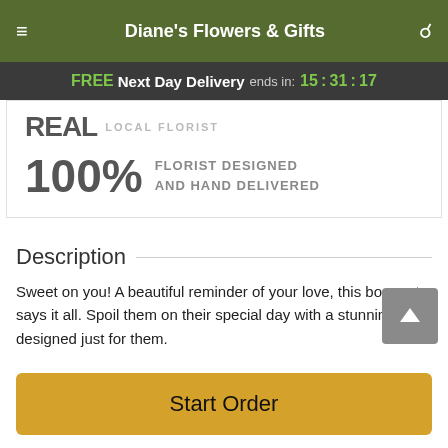Diane's Flowers & Gifts
FREE Next Day Delivery ends in: 15:31:17
[Figure (screenshot): Card showing REAL LOCAL FLORIST badge and 100% FLORIST DESIGNED AND HAND DELIVERED text]
Description
Sweet on you! A beautiful reminder of your love, this bouquet says it all. Spoil them on their special day with a stunning gift designed just for them.
Red roses and white calla lilies are tastefully arranged in a
Start Order